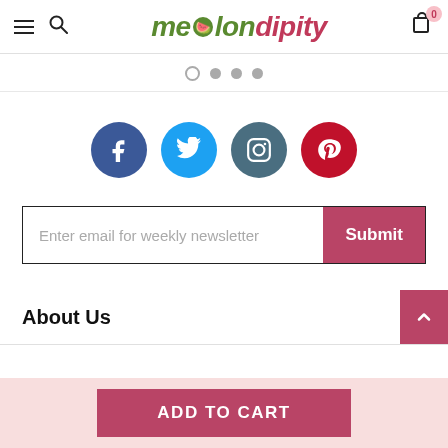melondipity — navigation header with hamburger menu, search, logo, and cart (0 items)
[Figure (other): Carousel pagination dots: 4 dots, first is empty/outline, remaining three are filled grey]
[Figure (other): Social media icons row: Facebook (dark blue), Twitter (light blue), Instagram (dark teal), Pinterest (red)]
[Figure (other): Back-to-top button (dark pink/mauve arrow up chevron) in top right corner]
Enter email for weekly newsletter
Submit
About Us
ADD TO CART